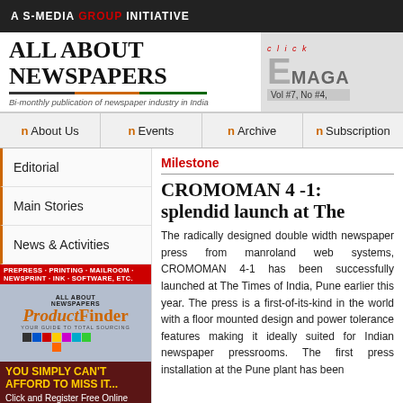A S-MEDIA GROUP INITIATIVE
ALL ABOUT NEWSPAPERS
Bi-monthly publication of newspaper industry in India
E click MAGA Vol #7, No #4,
n About Us
n Events
n Archive
n Subscription
Editorial
Main Stories
News & Activities
[Figure (illustration): Product Finder advertisement for All About Newspapers with colorful blocks, titled PREPRESS·PRINTING·MAILROOM·NEWSPRINT·INK·SOFTWARE, ETC. with text YOU SIMPLY CAN'T AFFORD TO MISS IT... Click and Register Free Online]
Milestone
CROMOMAN 4 -1: splendid launch at The
The radically designed double width newspaper press from manroland web systems, CROMOMAN 4-1 has been successfully launched at The Times of India, Pune earlier this year. The press is a first-of-its-kind in the world with a floor mounted design and power tolerance features making it ideally suited for Indian newspaper pressrooms. The first press installation at the Pune plant has been